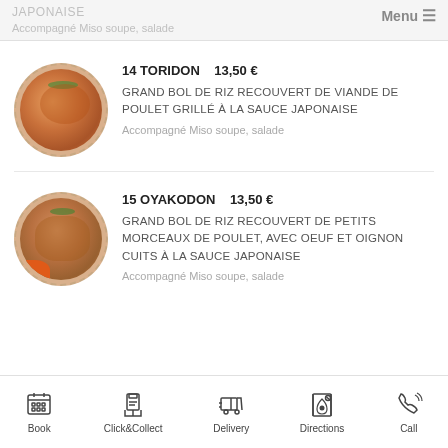JAPONAISE
Accompagné Miso soupe, salade   Menu
[Figure (photo): Photo of Toridon dish - grilled chicken rice bowl]
14 TORIDON   13,50€
GRAND BOL DE RIZ RECOUVERT DE VIANDE DE POULET GRILLÉ À LA SAUCE JAPONAISE
Accompagné Miso soupe, salade
[Figure (photo): Photo of Oyakodon dish - chicken and egg rice bowl]
15 OYAKODON   13,50€
GRAND BOL DE RIZ RECOUVERT DE PETITS MORCEAUX DE POULET, AVEC OEUF ET OIGNON CUITS À LA SAUCE JAPONAISE
Accompagné Miso soupe, salade
Book   Click&Collect   Delivery   Directions   Call